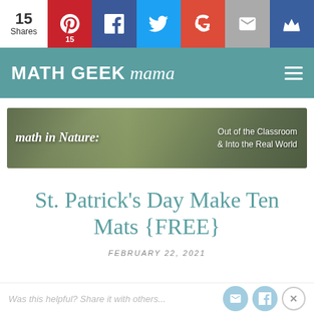15 Shares | Pinterest 15 | Facebook | Twitter | Google+ | Email | Crown
MATH GEEK mama
[Figure (illustration): Banner image for Math in Nature: Out of the Classroom & Into the Real World]
St. Patrick's Day Make Ten Mats {FREE}
FEBRUARY 22, 2021
Was this helpful? Share it with others...